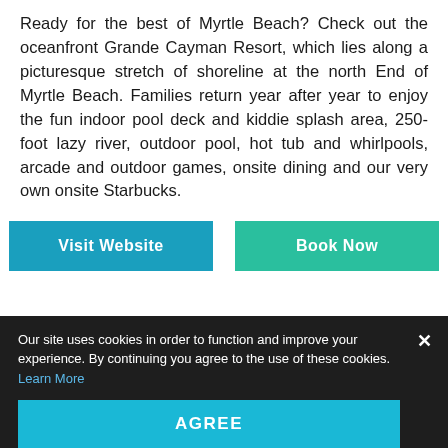Ready for the best of Myrtle Beach? Check out the oceanfront Grande Cayman Resort, which lies along a picturesque stretch of shoreline at the north End of Myrtle Beach. Families return year after year to enjoy the fun indoor pool deck and kiddie splash area, 250-foot lazy river, outdoor pool, hot tub and whirlpools, arcade and outdoor games, onsite dining and our very own onsite Starbucks.
[Figure (other): Two buttons side by side: 'Visit Website' (teal/blue) and 'Book Now' (green-teal)]
Our site uses cookies in order to function and improve your experience. By continuing you agree to the use of these cookies. Learn More
AGREE